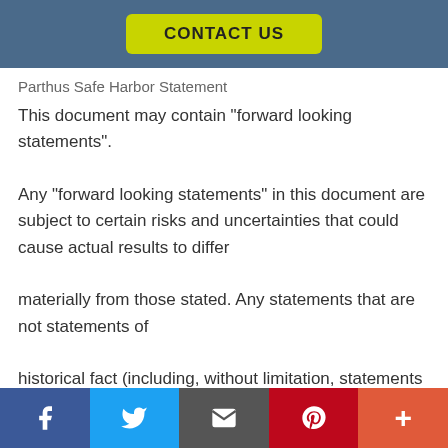CONTACT US
Parthus Safe Harbor Statement
This document may contain "forward looking statements". Any "forward looking statements" in this document are subject to certain risks and uncertainties that could cause actual results to differ materially from those stated. Any statements that are not statements of historical fact (including, without limitation, statements to the effect that the company or its management "believ
f  [twitter]  [email]  p  +